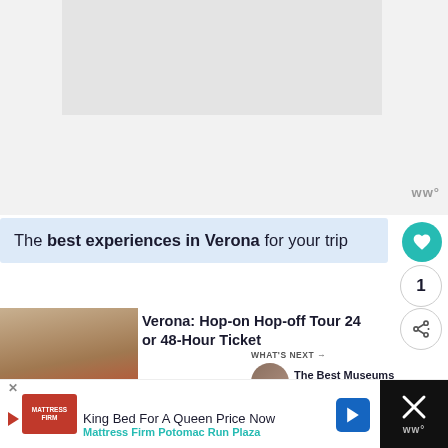[Figure (screenshot): Top area showing a partially visible webpage with a light gray banner image area and a small 'ww°' logo in the lower right]
The best experiences in Verona for your trip
[Figure (photo): Photo of a historic building in Verona with scaffolding and a red hop-on hop-off bus in the foreground]
Verona: Hop-on Hop-off Tour 24 or 48-Hour Ticket
[Figure (photo): Small circular thumbnail of a museum building]
WHAT'S NEXT → The Best Museums In...
[Figure (other): Star rating showing approximately 4.5 out of 5 stars]
King Bed For A Queen Price Now
Mattress Firm Potomac Run Plaza